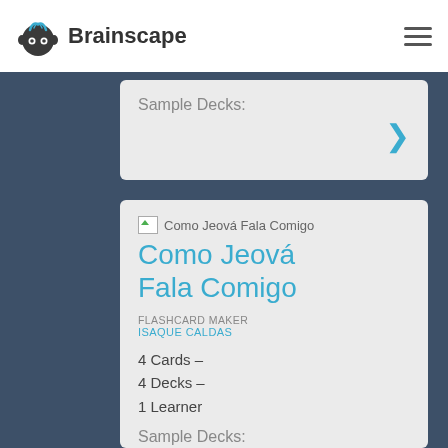Brainscape
Sample Decks:
Como Jeová Fala Comigo
FLASHCARD MAKER
ISAQUE CALDAS
4 Cards –
4 Decks –
1 Learner
Sample Decks:
Oração, Tristeza,